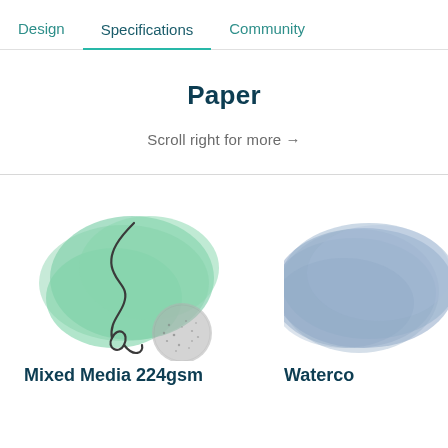Design   Specifications   Community
Paper
Scroll right for more →
[Figure (illustration): Watercolor-style illustration showing a green blob/splatter shape with a curling dark line on top, and a small gray/charcoal textured circle below-right.]
Mixed Media 224gsm
[Figure (illustration): Blue-gray watercolor rounded rectangle shape, partially visible on right side of page.]
Waterco